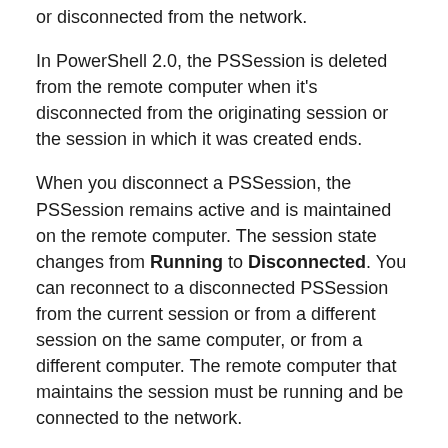or disconnected from the network.
In PowerShell 2.0, the PSSession is deleted from the remote computer when it's disconnected from the originating session or the session in which it was created ends.
When you disconnect a PSSession, the PSSession remains active and is maintained on the remote computer. The session state changes from Running to Disconnected. You can reconnect to a disconnected PSSession from the current session or from a different session on the same computer, or from a different computer. The remote computer that maintains the session must be running and be connected to the network.
Commands in a disconnected PSSession continue to run uninterrupted on the remote computer until the command completes or the output buffer fills. To prevent a full output buffer from...